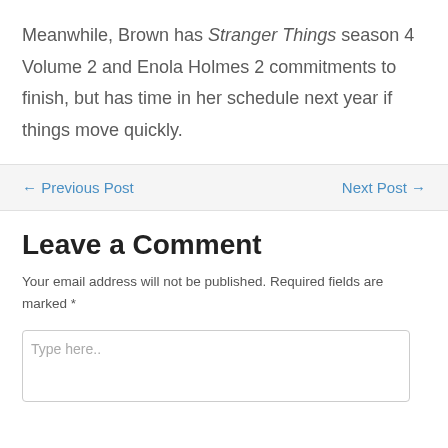Meanwhile, Brown has Stranger Things season 4 Volume 2 and Enola Holmes 2 commitments to finish, but has time in her schedule next year if things move quickly.
← Previous Post    Next Post →
Leave a Comment
Your email address will not be published. Required fields are marked *
Type here..